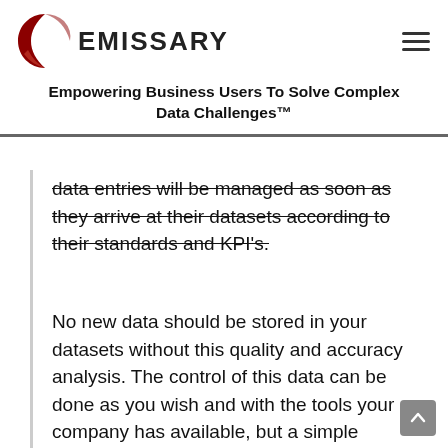EMISSARY — Empowering Business Users To Solve Complex Data Challenges™
data entries will be managed as soon as they arrive at their datasets according to their standards and KPI's.
No new data should be stored in your datasets without this quality and accuracy analysis. The control of this data can be done as you wish and with the tools your company has available, but a simple dashboard with the records and real-time monitoring will be